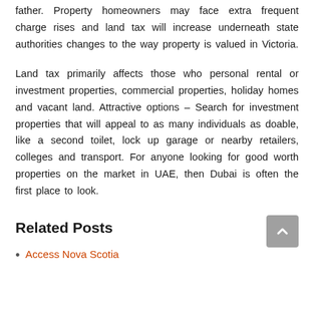father. Property homeowners may face extra frequent charge rises and land tax will increase underneath state authorities changes to the way property is valued in Victoria.
Land tax primarily affects those who personal rental or investment properties, commercial properties, holiday homes and vacant land. Attractive options – Search for investment properties that will appeal to as many individuals as doable, like a second toilet, lock up garage or nearby retailers, colleges and transport. For anyone looking for good worth properties on the market in UAE, then Dubai is often the first place to look.
Related Posts
Access Nova Scotia